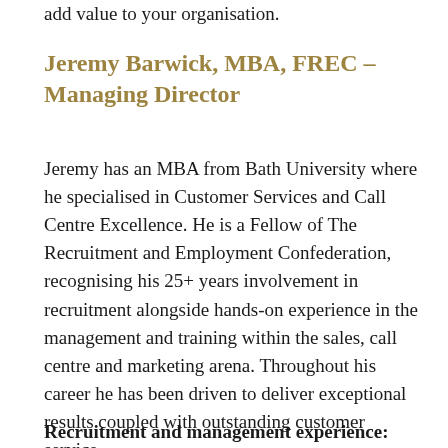add value to your organisation.
Jeremy Barwick, MBA, FREC – Managing Director
Jeremy has an MBA from Bath University where he specialised in Customer Services and Call Centre Excellence. He is a Fellow of The Recruitment and Employment Confederation, recognising his 25+ years involvement in recruitment alongside hands-on experience in the management and training within the sales, call centre and marketing arena. Throughout his career he has been driven to deliver exceptional results coupled with outstanding customer service.
Recruitment and management experience: